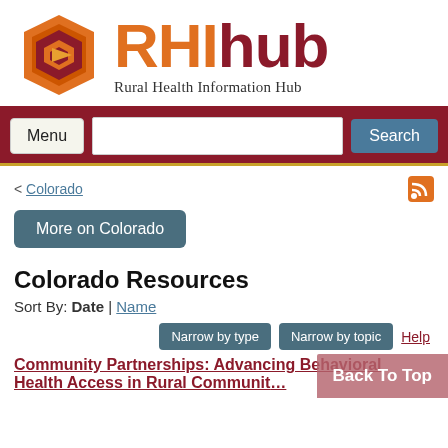[Figure (logo): RHIhub logo with hexagonal orange/maroon icon and text 'RHIhub' in orange and maroon, tagline 'Rural Health Information Hub']
Menu | Search bar | Search
< Colorado
More on Colorado
Colorado Resources
Sort By: Date | Name
Narrow by type   Narrow by topic   Help
Community Partnerships: Advancing Behavioral Health Access in Rural Communities